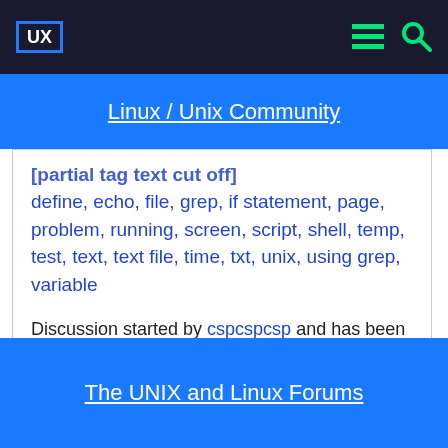UX | Linux / Unix Community
define, echo, file, grep, if statement, page, problem, running, screen, script, shell, temp, test, text, text file, time, txt, unix, using grep, variable
Discussion started by cspcspcsp and has been viewed 6,689 times.
There has been 1 reply in this discussion.
The last reply was by kristy.
The UNIX and Linux Forums